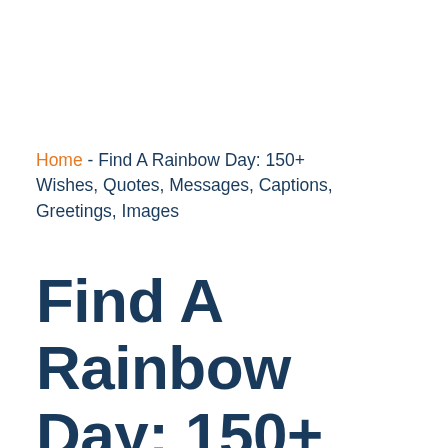Home - Find A Rainbow Day: 150+ Wishes, Quotes, Messages, Captions, Greetings, Images
Find A Rainbow Day: 150+ Wishes, Quotes, Messages, Captions,